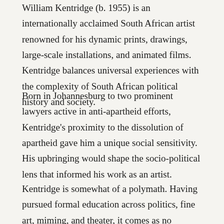William Kentridge (b. 1955) is an internationally acclaimed South African artist renowned for his dynamic prints, drawings, large-scale installations, and animated films. Kentridge balances universal experiences with the complexity of South African political history and society.
Born in Johannesburg to two prominent lawyers active in anti-apartheid efforts, Kentridge's proximity to the dissolution of apartheid gave him a unique social sensitivity. His upbringing would shape the socio-political lens that informed his work as an artist.
Kentridge is somewhat of a polymath. Having pursued formal education across politics, fine art, miming, and theater, it comes as no surprise that his work cannot be contained to the bounds of a single medium. Charcoal and ink are often his first tools for creation. The density, darkness and texture of the medium is instantly recognizable throughout his